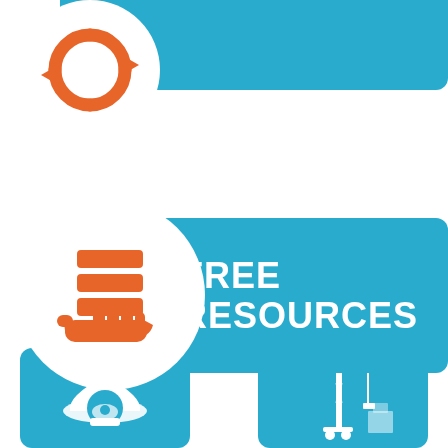[Figure (infographic): Top teal banner with orange recycling/refresh arrows icon in a white circle on the left]
[Figure (infographic): Middle teal banner with FREE RESOURCES text and a white circle containing an orange hand holding stacked database/coins icon]
[Figure (infographic): Bottom-left teal tile with a white hard hat/helmet icon]
[Figure (infographic): Bottom-right teal tile with a white construction crane icon]